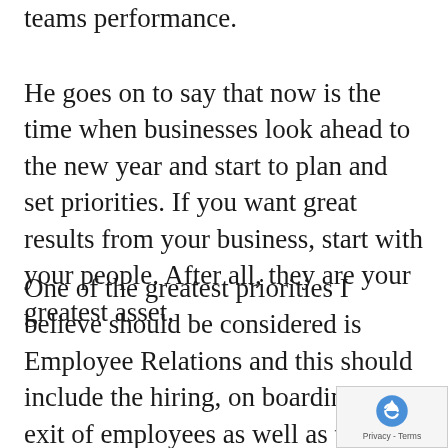teams performance.
He goes on to say that now is the time when businesses look ahead to the new year and start to plan and set priorities. If you want great results from your business, start with your people. After all, they are your greatest asset.
One of the greatest priorities I believe should be considered is Employee Relations and this should include the hiring, on boarding and exit of employees as well as the critical engagement people in the workplace and employee bene